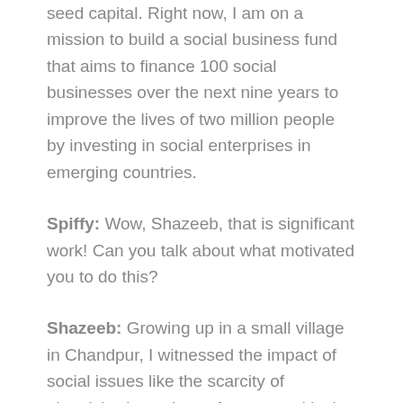seed capital. Right now, I am on a mission to build a social business fund that aims to finance 100 social businesses over the next nine years to improve the lives of two million people by investing in social enterprises in emerging countries.
Spiffy: Wow, Shazeeb, that is significant work! Can you talk about what motivated you to do this?
Shazeeb: Growing up in a small village in Chandpur, I witnessed the impact of social issues like the scarcity of electricity, low prices of crops, and lack of access to safe drinking water. I am committed to addressing these issues today through my own work. Living amidst these challenges, I realized how difficult social mobility